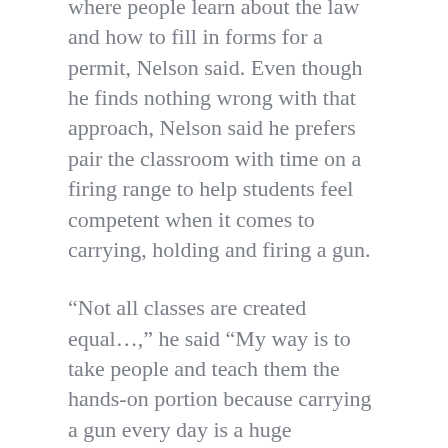where people learn about the law and how to fill in forms for a permit, Nelson said. Even though he finds nothing wrong with that approach, Nelson said he prefers pair the classroom with time on a firing range to help students feel competent when it comes to carrying, holding and firing a gun.
“Not all classes are created equal…,” he said “My way is to take people and teach them the hands-on portion because carrying a gun every day is a huge responsibility and I want to make sure that people are equipped to do that.”
Responsibility takes many forms in Nelson’s classes, including understanding how guns